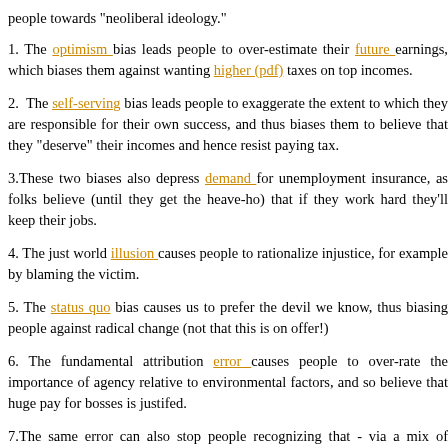people towards "neoliberal ideology."
1. The optimism bias leads people to over-estimate their future earnings, which biases them against wanting higher (pdf) taxes on top incomes.
2. The self-serving bias leads people to exaggerate the extent to which they are responsible for their own success, and thus biases them to believe that they "deserve" their incomes and hence resist paying tax.
3. These two biases also depress demand for unemployment insurance, as folks believe (until they get the heave-ho) that if they work hard they'll keep their jobs.
4. The just world illusion causes people to rationalize injustice, for example by blaming the victim.
5. The status quo bias causes us to prefer the devil we know, thus biasing people against radical change (not that this is on offer!)
6. The fundamental attribution error causes people to over-rate the importance of human agency relative to environmental factors, and so believe that huge pay for bosses is justifed.
7. The same error can also stop people recognizing that - via a mix of priming, stereotype threat and the Pygmalion effect - inequalities of outcome generate inequalities of behaviour. We might therefore attribute income inequality to differences in intelligence and industry, when in truth those differences are the result of inequality in income and opportunity, not the cause.